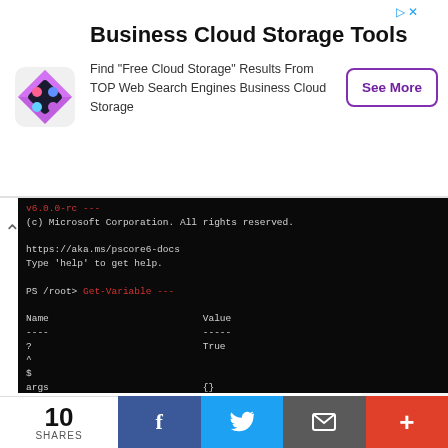[Figure (screenshot): Advertisement banner for Business Cloud Storage Tools with purple diamond logo and See More button]
[Figure (screenshot): PowerShell terminal on Linux showing Get-Variable output listing PS variables: Name/Value columns including args, ConfirmPreference, DebugPreference, Error, ErrorActionPreference, ErrorView, ExecutionContext, False, FormatEnumerationLimit, HOME, Host, InformationPreference, input, IsCoreCLR, IsLinux, IsMacOS, IsWindows, MaximumHistoryCount with corresponding values]
When Powershell is installed on Linux it is located under /
[Figure (screenshot): Social share bar with 10 SHARES count, Facebook, Twitter, Email, and plus buttons]